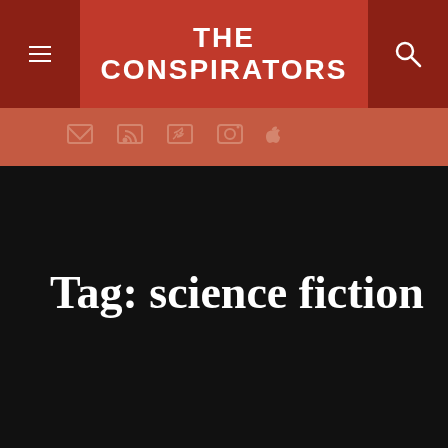THE CONSPIRATORS
Tag: science fiction